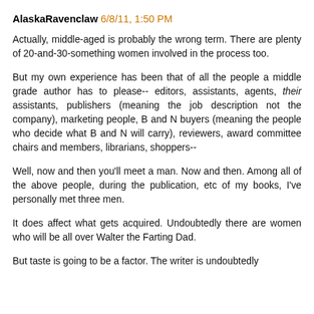AlaskaRavenclaw 6/8/11, 1:50 PM
Actually, middle-aged is probably the wrong term. There are plenty of 20-and-30-something women involved in the process too.
But my own experience has been that of all the people a middle grade author has to please-- editors, assistants, agents, their assistants, publishers (meaning the job description not the company), marketing people, B and N buyers (meaning the people who decide what B and N will carry), reviewers, award committee chairs and members, librarians, shoppers--
Well, now and then you'll meet a man. Now and then. Among all of the above people, during the publication, etc of my books, I've personally met three men.
It does affect what gets acquired. Undoubtedly there are women who will be all over Walter the Farting Dad.
But taste is going to be a factor. The writer is undoubtedly